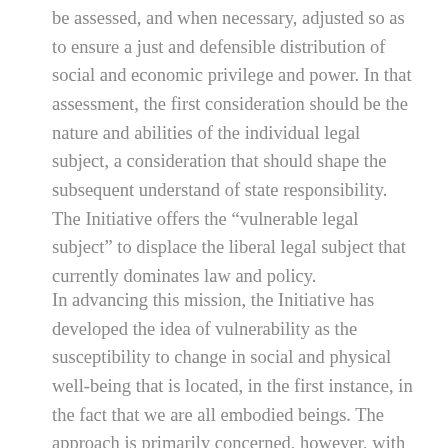be assessed, and when necessary, adjusted so as to ensure a just and defensible distribution of social and economic privilege and power. In that assessment, the first consideration should be the nature and abilities of the individual legal subject, a consideration that should shape the subsequent understand of state responsibility. The Initiative offers the “vulnerable legal subject” to displace the liberal legal subject that currently dominates law and policy.
In advancing this mission, the Initiative has developed the idea of vulnerability as the susceptibility to change in social and physical well-being that is located, in the first instance, in the fact that we are all embodied beings. The approach is primarily concerned, however, with what that embodiment necessitates, which is the inevitable reliance and dependence on social institutions and relationships. The vulnerable subject is